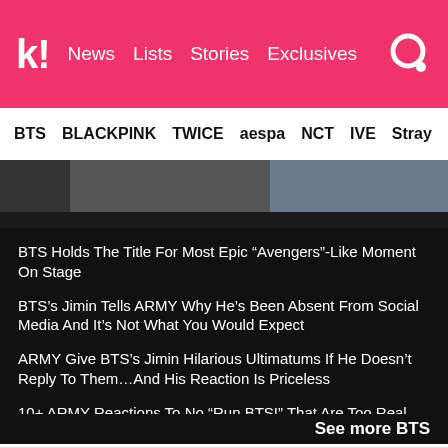k! News  Lists  Stories  Exclusives
BTS  BLACKPINK  TWICE  aespa  NCT  IVE  Stray
[Figure (photo): Partial photo of people, dark background strip]
BTS Holds The Title For Most Epic “Avengers”-Like Moment On Stage
BTS’s Jimin Tells ARMY Why He’s Been Absent From Social Media And It’s Not What You Would Expect
ARMY Give BTS’s Jimin Hilarious Ultimatums If He Doesn’t Reply To Them…And His Reaction Is Priceless
10+ ARMY Reactions To No “Run BTS!” That Are Too Real
See more BTS